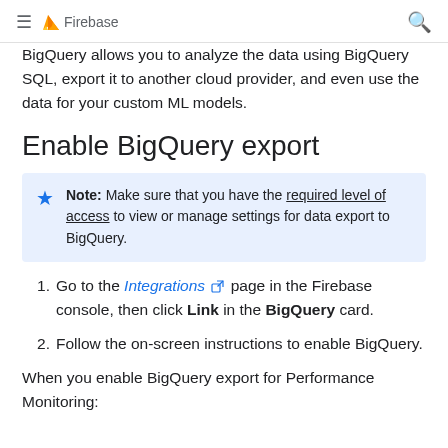Firebase
BigQuery allows you to analyze the data using BigQuery SQL, export it to another cloud provider, and even use the data for your custom ML models.
Enable BigQuery export
Note: Make sure that you have the required level of access to view or manage settings for data export to BigQuery.
Go to the Integrations page in the Firebase console, then click Link in the BigQuery card.
Follow the on-screen instructions to enable BigQuery.
When you enable BigQuery export for Performance Monitoring: